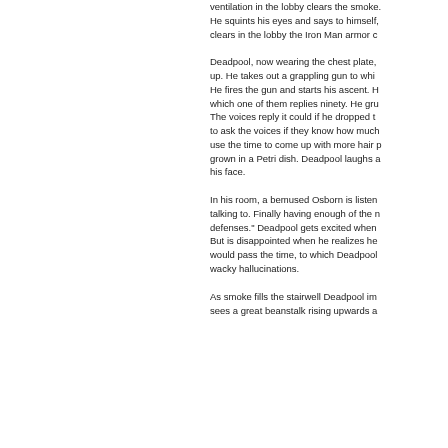ventilation in the lobby clears the smoke. He squints his eyes and says to himself, clears in the lobby the Iron Man armor c
Deadpool, now wearing the chest plate, up. He takes out a grappling gun to whi He fires the gun and starts his ascent. H which one of them replies ninety. He gru The voices reply it could if he dropped t to ask the voices if they know how much use the time to come up with more hair p grown in a Petri dish. Deadpool laughs a his face.
In his room, a bemused Osborn is listen talking to. Finally having enough of the n defenses." Deadpool gets excited when But is disappointed when he realizes he would pass the time, to which Deadpool wacky hallucinations.
As smoke fills the stairwell Deadpool im sees a great beanstalk rising upwards a